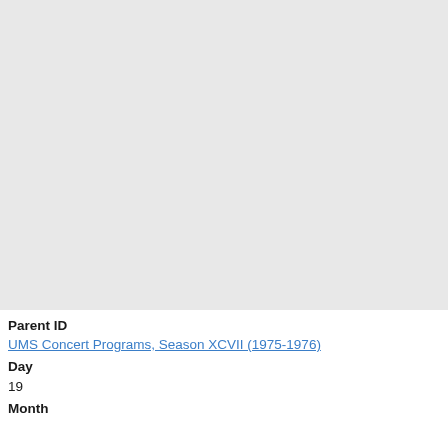[Figure (photo): Large light gray rectangular image placeholder area occupying the top portion of the page]
Parent ID
UMS Concert Programs, Season XCVII (1975-1976)
Day
19
Month